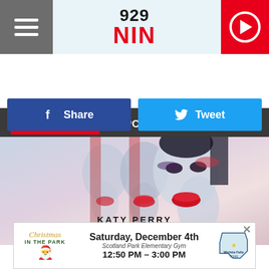[Figure (screenshot): Radio station 92.9 NIN header with hamburger menu on left, logo in center, red play button on right]
LISTEN NOW ►  POPCRUSH NIGHTS
[Figure (photo): Katy Perry Witness album art - triple exposure of woman's face with red lips, dark eye makeup, overlaid red and blue tones]
KATY PERRY WITNESS
[Figure (infographic): Advertisement banner: Christmas in the Park - Saturday, December 4th, Scotland Park Elementary Gym, 12:50 PM - 3:00 PM, Wichita Falls Texas]